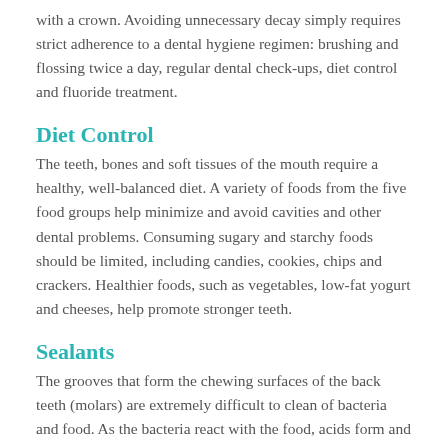with a crown. Avoiding unnecessary decay simply requires strict adherence to a dental hygiene regimen: brushing and flossing twice a day, regular dental check-ups, diet control and fluoride treatment.
Diet Control
The teeth, bones and soft tissues of the mouth require a healthy, well-balanced diet. A variety of foods from the five food groups help minimize and avoid cavities and other dental problems. Consuming sugary and starchy foods should be limited, including candies, cookies, chips and crackers. Healthier foods, such as vegetables, low-fat yogurt and cheeses, help promote stronger teeth.
Sealants
The grooves that form the chewing surfaces of the back teeth (molars) are extremely difficult to clean of bacteria and food. As the bacteria react with the food, acids form and break down the tooth enamel, causing cavities. Tooth